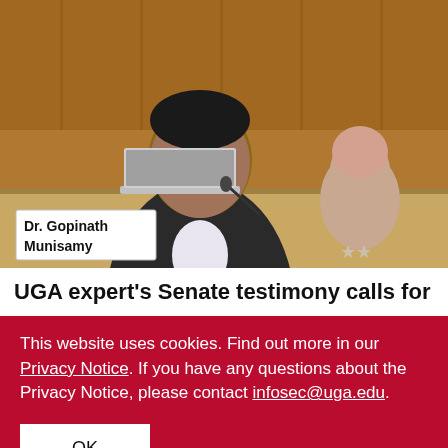[Figure (photo): Dr. Gopinath Munisamy seated at a hearing table with a name placard reading 'Dr. Gopinath Munisamy', wearing glasses and a dark suit, in front of a wooden panel background typical of a US Senate hearing room.]
UGA expert's Senate testimony calls for
This website uses cookies. Find out more in our Privacy Notice. If you have any questions about the Privacy Notice, please contact infosec@uga.edu.